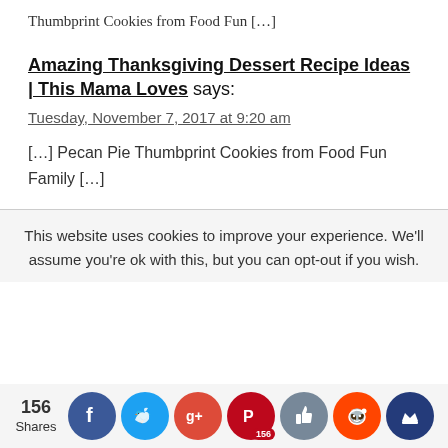Thumbprint Cookies from Food Fun […]
Amazing Thanksgiving Dessert Recipe Ideas | This Mama Loves says: Tuesday, November 7, 2017 at 9:20 am
[…] Pecan Pie Thumbprint Cookies from Food Fun Family […]
This website uses cookies to improve your experience. We'll assume you're ok with this, but you can opt-out if you wish.
156 Shares — social share buttons: Facebook, Twitter, Google+, Pinterest (156), Like, Reddit, Crown